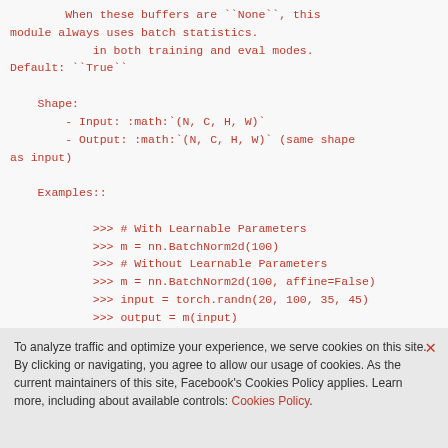When these buffers are ``None``, this module always uses batch statistics.
        in both training and eval modes.
Default: ``True``

    Shape:
        - Input: :math:`(N, C, H, W)`
        - Output: :math:`(N, C, H, W)` (same shape as input)

    Examples::

        >>> # With Learnable Parameters
        >>> m = nn.BatchNorm2d(100)
        >>> # Without Learnable Parameters
        >>> m = nn.BatchNorm2d(100, affine=False)
        >>> input = torch.randn(20, 100, 35, 45)
        >>> output = m(input)
    """
def _check_input_dim(self, input):
        if input.dim() != 4:
To analyze traffic and optimize your experience, we serve cookies on this site. By clicking or navigating, you agree to allow our usage of cookies. As the current maintainers of this site, Facebook's Cookies Policy applies. Learn more, including about available controls: Cookies Policy.